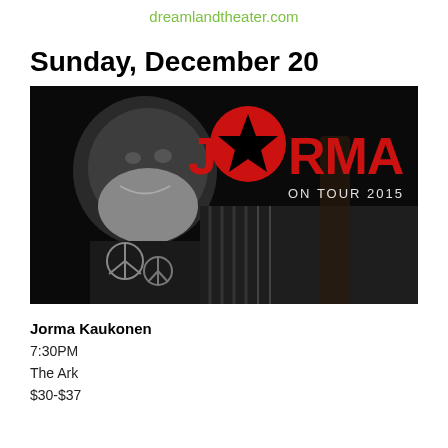dreamlandtheater.com
Sunday, December 20
[Figure (photo): Promotional photo for Jorma Kaukonen 'On Tour 2015' — black and white photo of a smiling older man with white beard, wearing a guitar strap with peace signs; large red text reads JORMA ON TOUR 2015]
Jorma Kaukonen
7:30PM
The Ark
$30-$37